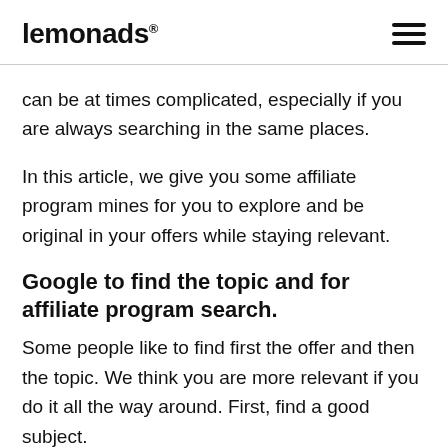lemonads®
can be at times complicated, especially if you are always searching in the same places.
In this article, we give you some affiliate program mines for you to explore and be original in your offers while staying relevant.
Google to find the topic and for affiliate program search.
Some people like to find first the offer and then the topic. We think you are more relevant if you do it all the way around. First, find a good subject.